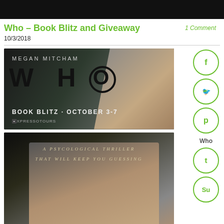Who – Book Blitz and Giveaway
1 Comment
10/3/2018
[Figure (illustration): Book blitz banner for 'WHO' by Megan Mitcham showing large bold text WHO, subtitle BOOK BLITZ · OCTOBER 3-7, author name MEGAN MITCHAM, Xpresso Tours logo, and a woman's face on dark background]
[Figure (illustration): Book cover for 'WHO' by Megan Mitcham showing a woman's face on dark background with text 'A PSYCOLOGICAL THRILLER THAT WILL KEEP YOU GUESSING']